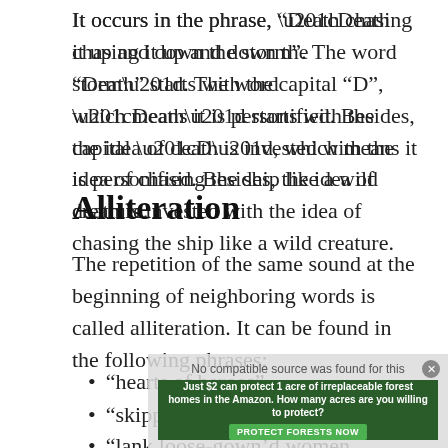It occurs in the phrase, “Death chasing it up and down the storm”. The word “Death” starts with the capital “D”, which means it is personified. Besides, the idea of death is invested with the idea of chasing the ship like a wild creature.
Alliteration
The repetition of the same sound at the beginning of neighboring words is called alliteration. It can be found in the following phrases:
“hearts of heroes”
“skipper saw”
“lank loose-gown’d women look’d”
[Figure (other): Advertisement banner overlay: 'Just $2 can protect 1 acre of irreplaceable forest homes in the Amazon. How many acres are you willing to protect?' with a green PROTECT FORESTS NOW button, and a grey error message 'No compatible source was found for this']